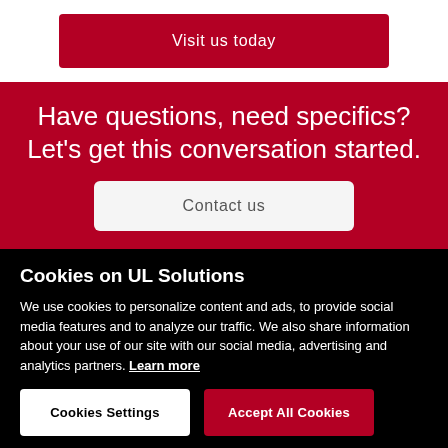Visit us today
Have questions, need specifics? Let's get this conversation started.
Contact us
Cookies on UL Solutions
We use cookies to personalize content and ads, to provide social media features and to analyze our traffic. We also share information about your use of our site with our social media, advertising and analytics partners. Learn more
Cookies Settings
Accept All Cookies